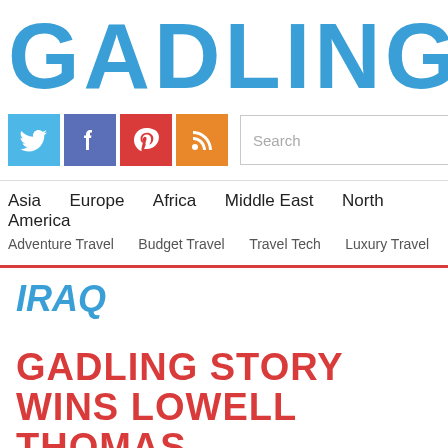GADLING
[Figure (infographic): Social media icons row: Twitter (blue), Facebook (purple-blue), Pinterest (red), RSS (orange)]
Asia  Europe  Africa  Middle East  North America
Adventure Travel  Budget Travel  Travel Tech  Luxury Travel
IRAQ
GADLING STORY WINS LOWELL THOMAS TRAVEL JOURNALISM AWARD